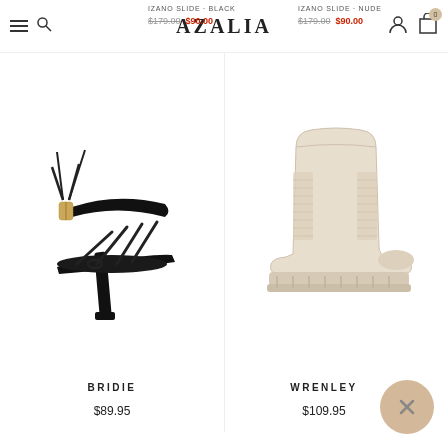AZALIA - navigation bar with logo, search, hamburger, user and cart icons
IZANO SLIDE - BLACK  $179.00  $90.00
IZANO SLIDE - NUDE  $179.00  $90.00
[Figure (photo): Black strappy high-heel sandal with ankle tie and thin toe straps - BRIDIE]
BRIDIE
$89.95
[Figure (photo): Cream/beige chunky Chelsea boot with elastic side panel and lug sole - WRENLEY]
WRENLEY
$109.95